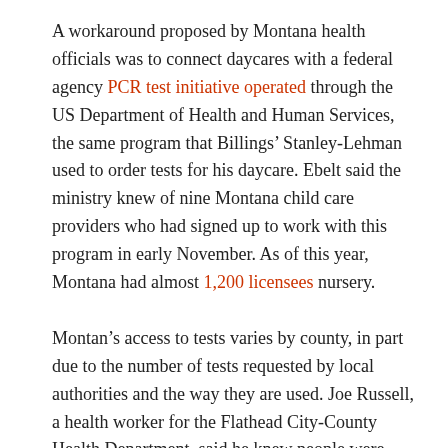A workaround proposed by Montana health officials was to connect daycares with a federal agency PCR test initiative operated through the US Department of Health and Human Services, the same program that Billings' Stanley-Lehman used to order tests for his daycare. Ebelt said the ministry knew of nine Montana child care providers who had signed up to work with this program in early November. As of this year, Montana had almost 1,200 licensees nursery.
Montan's access to tests varies by county, in part due to the number of tests requested by local authorities and the way they are used. Joe Russell, a health worker for the Flathead City-County Health Department, said he knew people were struggling to find tests, but it was not for the state to announce that tests are available.
“Sometimes that’ll be up to us, the county, and sometimes it's the responsibility of the business, you know, to go ahead and ask,” Russell said.